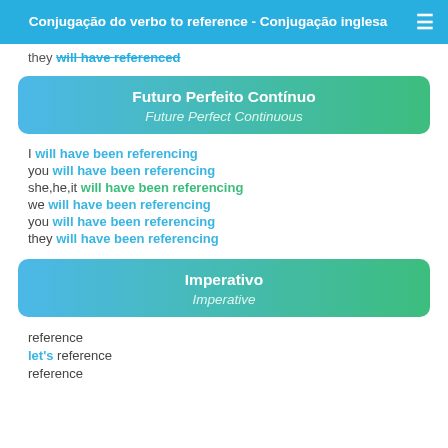Conjugação do verbo to reference - Conjugação inglesa
they will have referenced
Futuro Perfeito Contínuo / Future Perfect Continuous
I will have been referencing
you will have been referencing
she,he,it will have been referencing
we will have been referencing
you will have been referencing
they will have been referencing
Imperativo / Imperative
reference
let's reference
reference